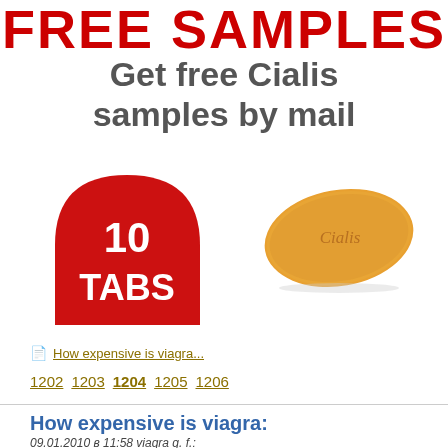FREE SAMPLES
Get free Cialis samples by mail
[Figure (illustration): Red semicircle badge with white text '10 TABS']
[Figure (photo): Orange oval Cialis pill with 'Cialis' embossed text]
How expensive is viagra...
1202 1203 1204 1205 1206
How expensive is viagra:
09.01.2010 в 11:58 viagra g. f.: does cialis give you a hard on